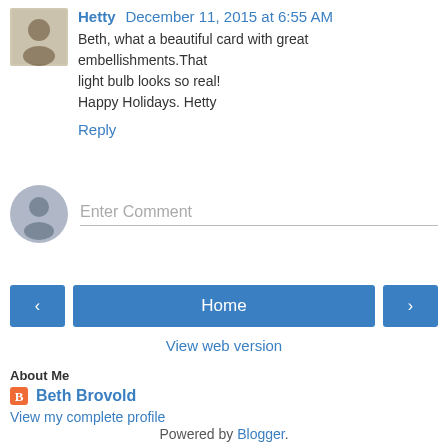Hetty  December 11, 2015 at 6:55 AM
Beth, what a beautiful card with great embellishments.That light bulb looks so real!
Happy Holidays. Hetty
Reply
Enter Comment
< Home >
View web version
About Me
Beth Brovold
View my complete profile
Powered by Blogger.